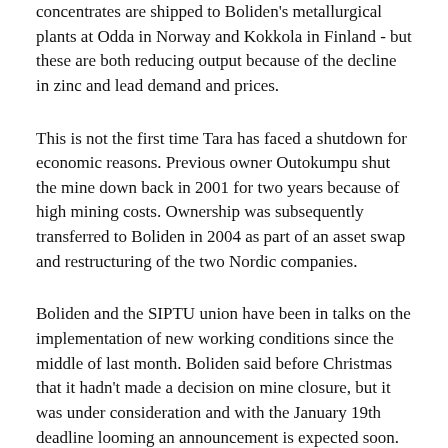concentrates are shipped to Boliden's metallurgical plants at Odda in Norway and Kokkola in Finland - but these are both reducing output because of the decline in zinc and lead demand and prices.
This is not the first time Tara has faced a shutdown for economic reasons. Previous owner Outokumpu shut the mine down back in 2001 for two years because of high mining costs. Ownership was subsequently transferred to Boliden in 2004 as part of an asset swap and restructuring of the two Nordic companies.
Boliden and the SIPTU union have been in talks on the implementation of new working conditions since the middle of last month. Boliden said before Christmas that it hadn't made a decision on mine closure, but it was under consideration and with the January 19th deadline looming an announcement is expected soon.